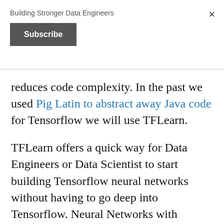Building Stronger Data Engineers
Subscribe
reduces code complexity. In the past we used Pig Latin to abstract away Java code for Tensorflow we will use TFLearn.
TFLearn offers a quick way for Data Engineers or Data Scientist to start building Tensorflow neural networks without having to go deep into Tensorflow. Neural Networks with TFLearn are still written in Python, but the code is drastically reduced from Python Tensorflow. Using TFLearn provides Data